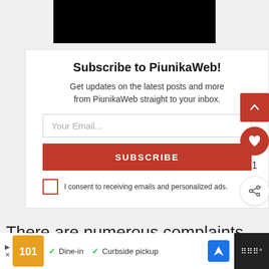[Figure (photo): Black image at top of page, partially cropped]
Subscribe to PiunikaWeb!
Get updates on the latest posts and more from PiunikaWeb straight to your inbox.
Your Email...
SUBSCRIBE
I consent to receiving emails and personalized ads.
There are numerous complaints
[Figure (screenshot): Advertisement bar at bottom with restaurant logo, Dine-in and Curbside pickup options]